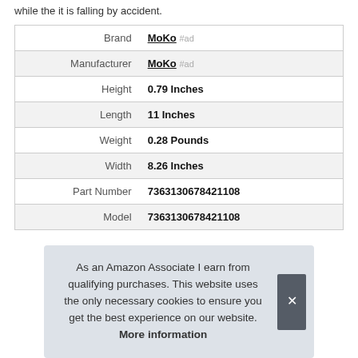while the it is falling by accident.
| Brand | MoKo #ad |
| Manufacturer | MoKo #ad |
| Height | 0.79 Inches |
| Length | 11 Inches |
| Weight | 0.28 Pounds |
| Width | 8.26 Inches |
| Part Number | 7363130678421108 |
| Model | 7363130678421108 |
As an Amazon Associate I earn from qualifying purchases. This website uses the only necessary cookies to ensure you get the best experience on our website. More information